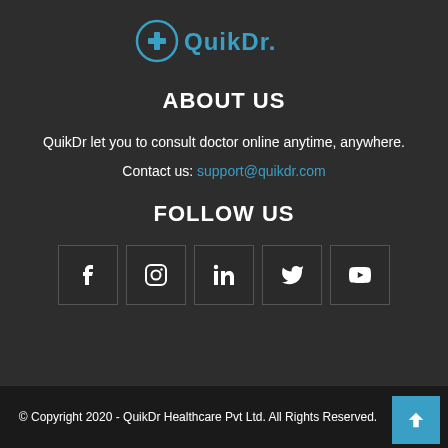[Figure (logo): QuikDr logo with medical cross icon and text 'QuikDr.' in teal/blue color]
ABOUT US
QuikDr let you to consult doctor online anytime, anywhere.
Contact us: support@quikdr.com
FOLLOW US
[Figure (infographic): Social media icons in bordered boxes: Facebook, Instagram, LinkedIn, Twitter, YouTube]
© Copyright 2020 - QuikDr Healthcare Pvt Ltd. All Rights Reserved.